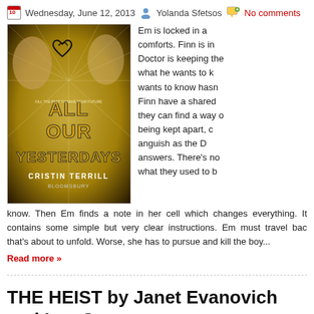Wednesday, June 12, 2013  Yolanda Sfetsos  No comments
[Figure (photo): Book cover of 'All Our Yesterdays' by Cristin Terrill, published by Bloomsbury. Gold and black cover with two faces and stylized text.]
Em is locked in a comforts. Finn is in Doctor is keeping the what he wants to k wants to know hasn Finn have a shared they can find a way o being kept apart, c anguish as the D answers. There's no what they used to b know. Then Em finds a note in her cell which changes everything. It contains some simple but very clear instructions. Em must travel bac that's about to unfold. Worse, she has to pursue and kill the boy...
Read more »
THE HEIST by Janet Evanovich and Lee C
Sunday, June 09, 2013  Yolanda Sfetsos  No comments